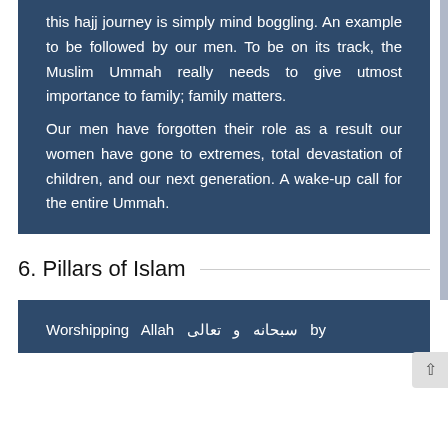this hajj journey is simply mind boggling. An example to be followed by our men. To be on its track, the Muslim Ummah really needs to give utmost importance to family; family matters. Our men have forgotten their role as a result our women have gone to extremes, total devastation of children, and our next generation. A wake-up call for the entire Ummah.
6. Pillars of Islam
Worshipping Allah سبحانه و تعالى by